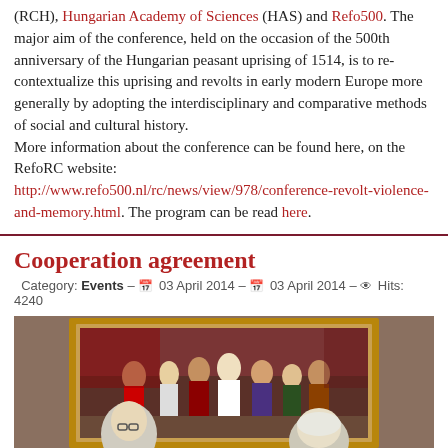(RCH), Hungarian Academy of Sciences (HAS) and Refo500. The major aim of the conference, held on the occasion of the 500th anniversary of the Hungarian peasant uprising of 1514, is to re-contextualize this uprising and revolts in early modern Europe more generally by adopting the interdisciplinary and comparative methods of social and cultural history.
More information about the conference can be found here, on the RefoRC website:
http://www.refo500.nl/rc/news/view/978/conference-revolt-violence-and-memory.html. The program can be read here.
Cooperation agreement
Category: Events – 03 April 2014 – 03 April 2014 – Hits: 4240
[Figure (photo): Photo of two men in foreground, with a large historical painting in the background depicting a formal ceremony with many figures in period costume]